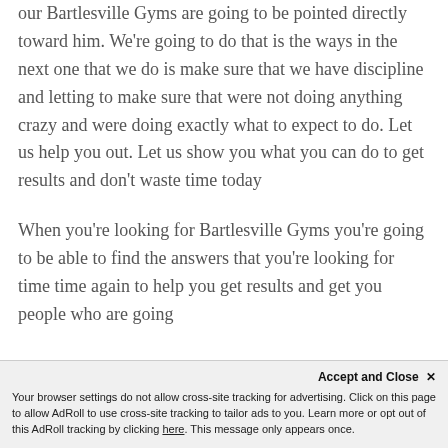our Bartlesville Gyms are going to be pointed directly toward him. We're going to do that is the ways in the next one that we do is make sure that we have discipline and letting to make sure that were not doing anything crazy and were doing exactly what to expect to do. Let us help you out. Let us show you what you can do to get results and don't waste time today
When you're looking for Bartlesville Gyms you're going to be able to find the answers that you're looking for time time again to help you get results and get you people who are going
Accept and Close ×
Your browser settings do not allow cross-site tracking for advertising. Click on this page to allow AdRoll to use cross-site tracking to tailor ads to you. Learn more or opt out of this AdRoll tracking by clicking here. This message only appears once.